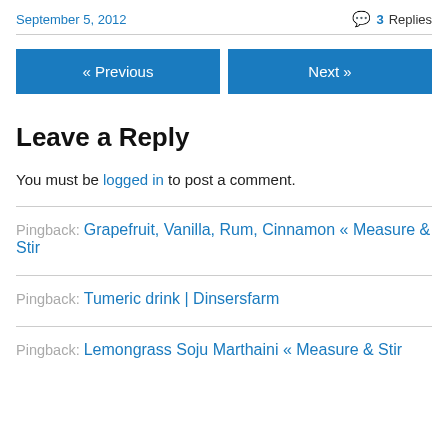September 5, 2012
3 Replies
« Previous
Next »
Leave a Reply
You must be logged in to post a comment.
Pingback: Grapefruit, Vanilla, Rum, Cinnamon « Measure & Stir
Pingback: Tumeric drink | Dinsersfarm
Pingback: Lemongrass Soju Marthaini « Measure & Stir